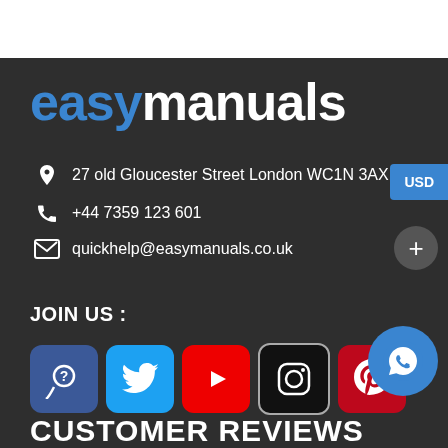[Figure (logo): easymanuals logo with 'easy' in blue and 'manuals' in white bold text]
27 old Gloucester Street London WC1N 3AX
+44 7359 123 601
quickhelp@easymanuals.co.uk
USD
+
JOIN US :
[Figure (illustration): Row of social media icons: easymanuals help icon (blue), Twitter (blue), YouTube (red), Instagram (dark), Pinterest (red)]
[Figure (illustration): WhatsApp circular icon button in blue]
CUSTOMER REVIEWS